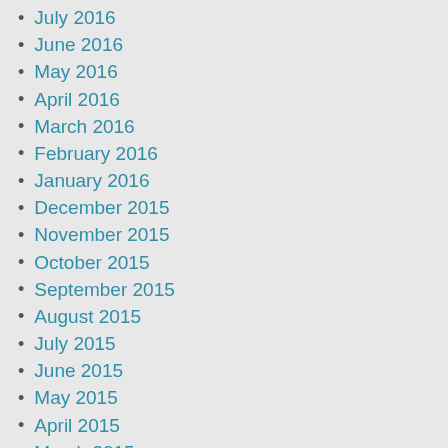July 2016
June 2016
May 2016
April 2016
March 2016
February 2016
January 2016
December 2015
November 2015
October 2015
September 2015
August 2015
July 2015
June 2015
May 2015
April 2015
March 2015
February 2015
January 2015
December 2014
November 2014